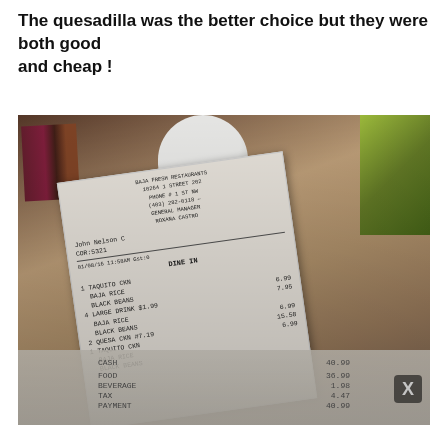The quesadilla was the better choice but they were both good
and cheap !
[Figure (photo): Photo of a restaurant receipt lying on a tray/table surface. The receipt is from Baja Fresh restaurant. Items visible include: DINE IN, 1 TAQUITO CKN, BAJA RICE, BLACK BEANS, 4 LARGE DRINK $1.99, 1 TAQUITO CKN, BAJA RICE, BLACK BEANS, 2 QUESA CKN #7.19, 1 TAQUITO CKN, BAJA RICE, BLACK BEANS. Prices visible: 6.99, 7.95, 6.99, 15.58, 6.99. Bottom shows CASH 40.99, FOOD 36.99, BEVERAGE 1.98, TAX 4.47, PAYMENT 40.99. An X close button is visible at bottom right. A white container and green item are in the background.]